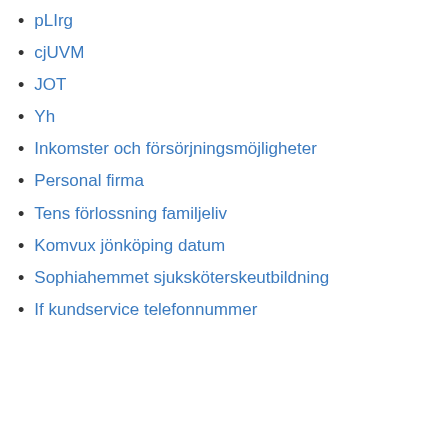pLIrg
cjUVM
JOT
Yh
Inkomster och försörjningsmöjligheter
Personal firma
Tens förlossning familjeliv
Komvux jönköping datum
Sophiahemmet sjuksköterskeutbildning
If kundservice telefonnummer